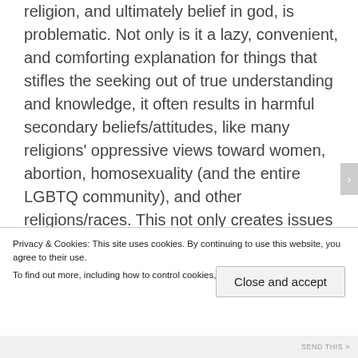religion, and ultimately belief in god, is problematic. Not only is it a lazy, convenient, and comforting explanation for things that stifles the seeking out of true understanding and knowledge, it often results in harmful secondary beliefs/attitudes, like many religions' oppressive views toward women, abortion, homosexuality (and the entire LGBTQ community), and other religions/races. This not only creates issues in families and personal relationships, but ripples out to affect politics, and the innocent people of the world at large. It is my personal opinion that our
Privacy & Cookies: This site uses cookies. By continuing to use this website, you agree to their use.
To find out more, including how to control cookies, see here: Cookie Policy